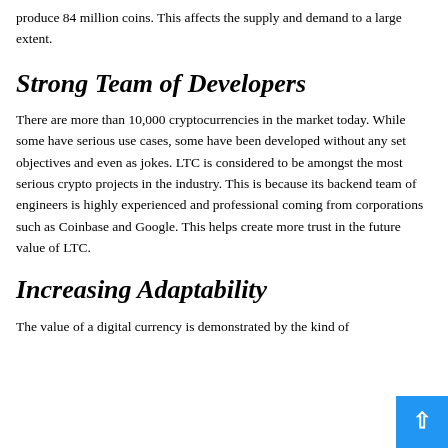produce 84 million coins. This affects the supply and demand to a large extent.
Strong Team of Developers
There are more than 10,000 cryptocurrencies in the market today. While some have serious use cases, some have been developed without any set objectives and even as jokes. LTC is considered to be amongst the most serious crypto projects in the industry. This is because its backend team of engineers is highly experienced and professional coming from corporations such as Coinbase and Google. This helps create more trust in the future value of LTC.
Increasing Adaptability
The value of a digital currency is demonstrated by the kind of